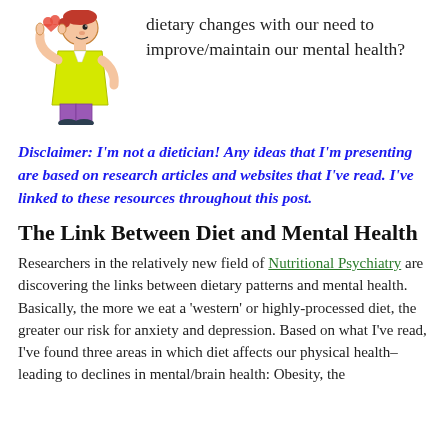[Figure (illustration): Cartoon illustration of a person in a yellow shirt holding a finger up as if thinking or cautioning, with a thought cloud or small icon near head.]
dietary changes with our need to improve/maintain our mental health?
Disclaimer:  I'm not a dietician!  Any ideas that I'm presenting are based on research articles and websites that I've read.  I've linked to these resources throughout this post.
The Link Between Diet and Mental Health
Researchers in the relatively new field of Nutritional Psychiatry are discovering the links between dietary patterns and mental health.  Basically, the more we eat a 'western' or highly-processed diet, the greater our risk for anxiety and depression.  Based on what I've read, I've found three areas in which diet affects our physical health–leading to declines in mental/brain health:  Obesity, the